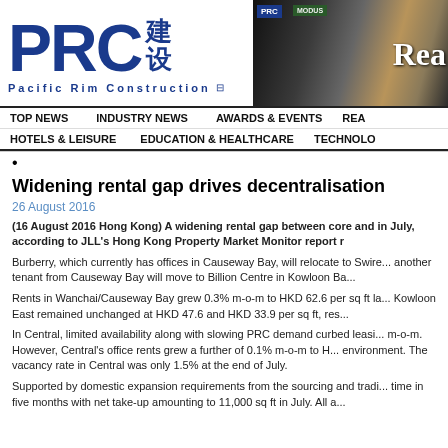PRC 建设 Pacific Rim Construction
[Figure (photo): Magazine covers/photos collage with 'Read' text visible on right side]
TOP NEWS | INDUSTRY NEWS | AWARDS & EVENTS | REAL... | HOTELS & LEISURE | EDUCATION & HEALTHCARE | TECHNOLO...
•
Widening rental gap drives decentralisation
26 August 2016
(16 August 2016 Hong Kong) A widening rental gap between core and ... in July, according to JLL's Hong Kong Property Market Monitor report r...
Burberry, which currently has offices in Causeway Bay, will relocate to Swire... another tenant from Causeway Bay will move to Billion Centre in Kowloon Ba...
Rents in Wanchai/Causeway Bay grew 0.3% m-o-m to HKD 62.6 per sq ft la... Kowloon East remained unchanged at HKD 47.6 and HKD 33.9 per sq ft, res...
In Central, limited availability along with slowing PRC demand curbed leasi... m-o-m. However, Central's office rents grew a further of 0.1% m-o-m to H... environment. The vacancy rate in Central was only 1.5% at the end of July.
Supported by domestic expansion requirements from the sourcing and tradi... time in five months with net take-up amounting to 11,000 sq ft in July. All a...